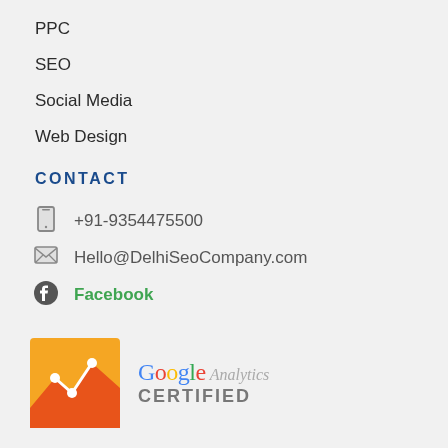PPC
SEO
Social Media
Web Design
CONTACT
+91-9354475500
Hello@DelhiSeoCompany.com
Facebook
[Figure (logo): Google Analytics Certified badge with orange chart icon]